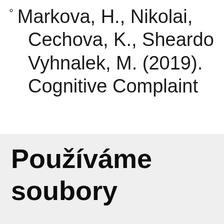Markova, H., Nikolai, Cechova, K., Sheardown, Vyhnalek, M. (2019). Cognitive Complaint
Používáme soubory